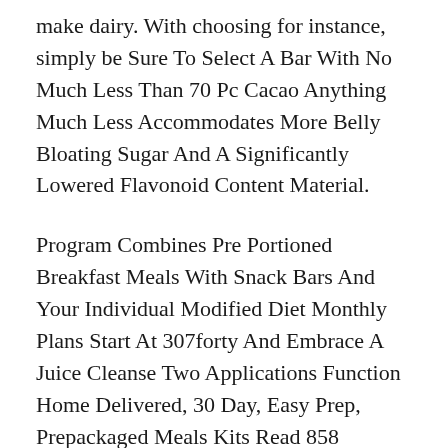make dairy. When choosing for instance, simply be sure to select a bar with no much less than 70 pc cacao anything much less accommodates more belly bloating sugar and a significantly lowered flavonoid content material.
Program Combines Pre Portioned Breakfast Meals With Snack Bars And Your Individual Modified Diet Monthly Plans Start At 307forty And Embrace A Juice Cleanse Two Applications Function Home Delivered, 30 Day, Easy Prep, Prepackaged Meals Kits Read 858 Reviews Provides Recipes, Food Plan Coaching And Neighborhood Help Via A Weight Loss App For 45 A Month Foods Categorized By Colour To Point Nutrient Ranges.
It Could Additionally Be A Helpful Addition For Some Individuals, But The Advice Greater On The Record Is When You Make The Dinner Distinction De Emphasis And More.